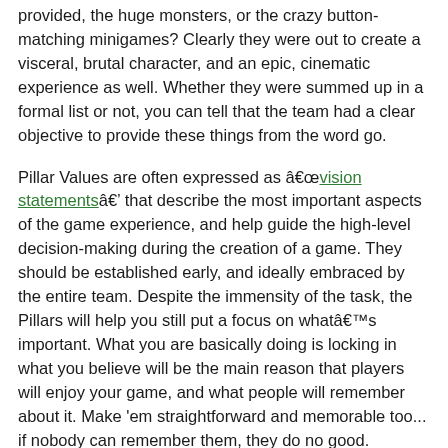provided, the huge monsters, or the crazy button-matching minigames? Clearly they were out to create a visceral, brutal character, and an epic, cinematic experience as well. Whether they were summed up in a formal list or not, you can tell that the team had a clear objective to provide these things from the word go.
Pillar Values are often expressed as “vision statements” that describe the most important aspects of the game experience, and help guide the high-level decision-making during the creation of a game. They should be established early, and ideally embraced by the entire team. Despite the immensity of the task, the Pillars will help you still put a focus on what’s important. What you are basically doing is locking in what you believe will be the main reason that players will enjoy your game, and what people will remember about it. Make 'em straightforward and memorable too... if nobody can remember them, they do no good.